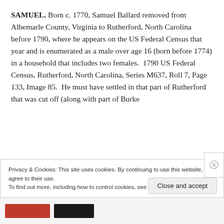SAMUEL. Born c. 1770, Samuel Ballard removed from Albemarle County, Virginia to Rutherford, North Carolina before 1790, where he appears on the US Federal Census that year and is enumerated as a male over age 16 (born before 1774) in a household that includes two females. 1790 US Federal Census, Rutherford, North Carolina, Series M637, Roll 7, Page 133, Image 85. He must have settled in that part of Rutherford that was cut off (along with part of Burke
Privacy & Cookies: This site uses cookies. By continuing to use this website, you agree to their use.
To find out more, including how to control cookies, see here: Cookie Policy
Close and accept